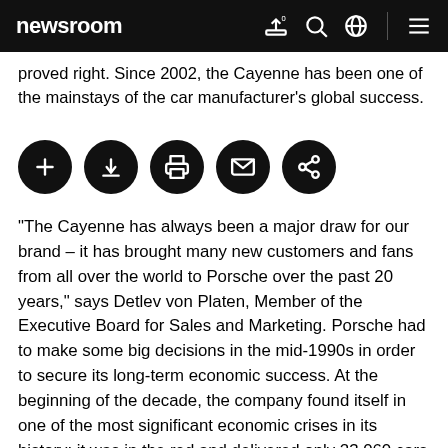newsroom
proved right. Since 2002, the Cayenne has been one of the mainstays of the car manufacturer's global success.
[Figure (infographic): Five circular black icon buttons: add/bookmark, download, print, email, share]
“The Cayenne has always been a major draw for our brand – it has brought many new customers and fans from all over the world to Porsche over the past 20 years,” says Detlev von Platen, Member of the Executive Board for Sales and Marketing. Porsche had to make some big decisions in the mid-1990s in order to secure its long-term economic success. At the beginning of the decade, the company found itself in one of the most significant economic crises in its history: it was in the red and delivered only 23,060 cars in the 1991/92 financial year. With the Boxster, launched in 1996, Porsche began to manoeuvre its way out of its slump. But it quickly became clear to the management that the legendary 911 and the